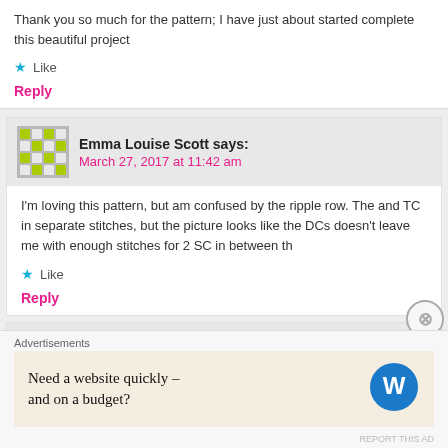Thank you so much for the pattern; I have just about started complete this beautiful project
Like
Reply
Emma Louise Scott says:
March 27, 2017 at 11:42 am
I'm loving this pattern, but am confused by the ripple row. The and TC in separate stitches, but the picture looks like the DCs doesn't leave me with enough stitches for 2 SC in between th
Like
Reply
HannahOwens says:
Advertisements
Need a website quickly – and on a budget?